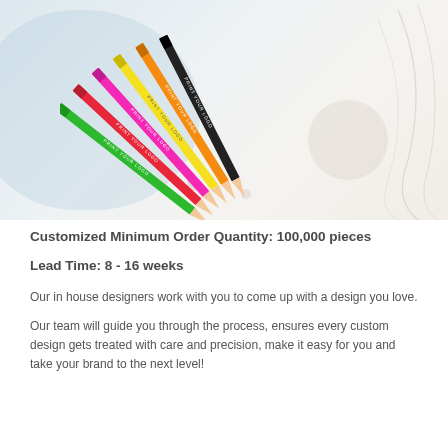[Figure (photo): Six colored pencils (green, pink/red, pink/magenta, yellow, orange, black) fanned out diagonally on a light blue-grey and cream decorative background with abstract blob and line shapes. Pencils have 'PRINT YOUR LOGO' text printed on them.]
Customized Minimum Order Quantity: 100,000 pieces
Lead Time:  8 - 16 weeks
Our in house designers work with you to come up with a design you love.
Our team will guide you through the process, ensures every custom design gets treated with care and precision, make it easy for you and take your brand to the next level!